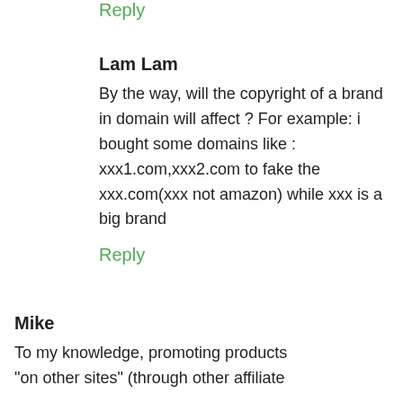Reply
Lam Lam
By the way, will the copyright of a brand in domain will affect ? For example: i bought some domains like : xxx1.com,xxx2.com to fake the xxx.com(xxx not amazon) while xxx is a big brand
Reply
Mike
To my knowledge, promoting products "on other sites" (through other affiliate